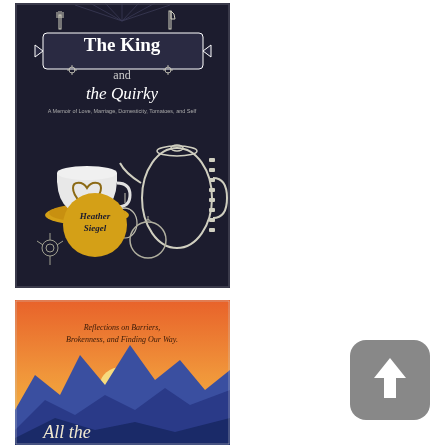[Figure (illustration): Book cover of 'The King and the Quirky: A Memoir of Love, Marriage, Domesticity, Tomatoes, and Self' by Heather Siegel. Dark navy/black background with illustrated teapot, coffee cup with latte art heart, fork and knife, vegetables and flowers. Author name in a yellow circle badge.]
[Figure (illustration): Book cover showing 'Reflections on Barriers, Brokenness, and Finding Our Way' with text 'All the' visible. Orange/sunset sky with blue mountain silhouettes landscape illustration.]
[Figure (other): Upload/share button icon — grey rounded square with upward arrow symbol.]